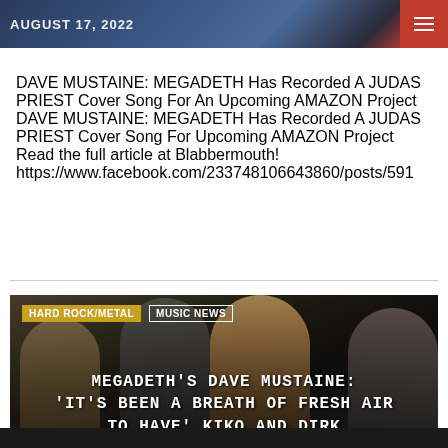[Figure (photo): Top banner with date AUGUST 17, 2022 and hamburger menu icon on red background]
DAVE MUSTAINE: MEGADETH Has Recorded A JUDAS PRIEST Cover Song For An Upcoming AMAZON Project DAVE MUSTAINE: MEGADETH Has Recorded A JUDAS PRIEST Cover Song For Upcoming AMAZON Project Read the full article at Blabbermouth! https://www.facebook.com/233748106643860/posts/591
[Figure (photo): Dark band photo of Megadeth members with tags HARD ROCK/METAL and MUSIC NEWS overlay, and title text: MEGADETH'S DAVE MUSTAINE: 'IT'S BEEN A BREATH OF FRESH AIR TO HAVE' KIKO AND DIRK]